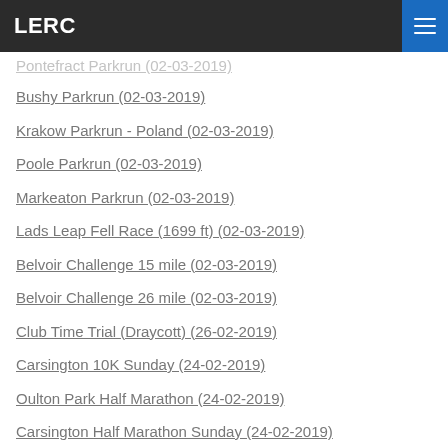LERC
Pontefract Parkrun (02-03-2019)
Bushy Parkrun (02-03-2019)
Krakow Parkrun - Poland (02-03-2019)
Poole Parkrun (02-03-2019)
Markeaton Parkrun (02-03-2019)
Lads Leap Fell Race (1699 ft) (02-03-2019)
Belvoir Challenge 15 mile (02-03-2019)
Belvoir Challenge 26 mile (02-03-2019)
Club Time Trial (Draycott) (26-02-2019)
Carsington 10K Sunday (24-02-2019)
Oulton Park Half Marathon (24-02-2019)
Carsington Half Marathon Sunday (24-02-2019)
Clifton Parkrun (23-02-2019)
Edinburgh Parkrun (23-02-2019)
Storthes Hall Parkrun (23-02-2019)